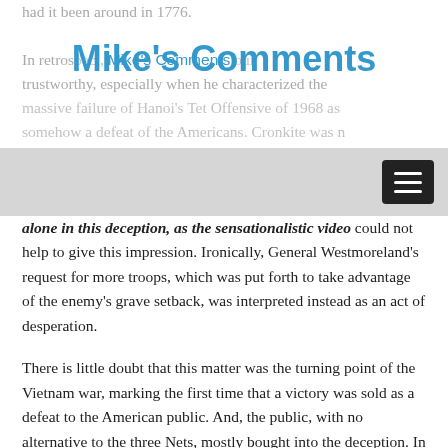had it been around in 1776.
Mike's Comments
In retros... trustworthy, especially when he characterized the massive failure of Hanoi's Tet Offensive of 1968 as somehow a defeat of the Americans. Cronkite was not alone in this deception, as the sensationalistic video could not help to give this impression. Ironically, General Westmoreland's request for more troops, which was put forth to take advantage of the enemy's grave setback, was interpreted instead as an act of desperation.
There is little doubt that this matter was the turning point of the Vietnam war, marking the first time that a victory was sold as a defeat to the American public. And, the public, with no alternative to the three Nets, mostly bought into the deception. In fairness, CBS could not have accomplished all this on their own. It also took an astonishingly incompetent Defense Department, under the “leadership” of soon-to-be-dumped whiz-kid Robert McNamara, to completely undermine the nation’s